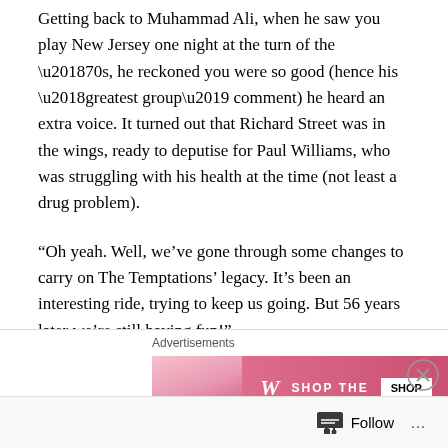Getting back to Muhammad Ali, when he saw you play New Jersey one night at the turn of the ‘70s, he reckoned you were so good (hence his ‘greatest group’ comment) he heard an extra voice. It turned out that Richard Street was in the wings, ready to deputise for Paul Williams, who was struggling with his health at the time (not least a drug problem).
“Oh yeah. Well, we’ve gone through some changes to carry on The Temptations’ legacy. It’s been an interesting ride, trying to keep us going. But 56 years later we’re still having fun!”
There was certainly a lot of chopping and changing. The
Advertisements